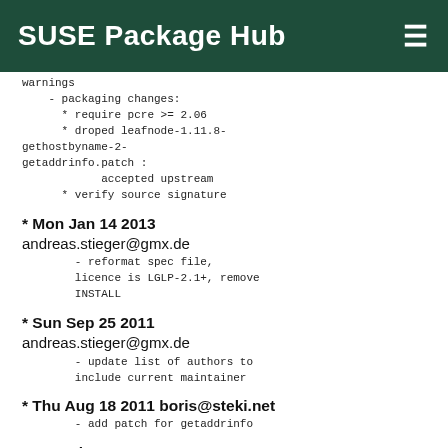SUSE Package Hub
warnings
    - packaging changes:
      * require pcre >= 2.06
      * droped leafnode-1.11.8-gethostbyname-2-getaddrinfo.patch :
            accepted upstream
      * verify source signature
* Mon Jan 14 2013 andreas.stieger@gmx.de
    - reformat spec file, licence is LGLP-2.1+, remove INSTALL
* Sun Sep 25 2011 andreas.stieger@gmx.de
    - update list of authors to include current maintainer
* Thu Aug 18 2011 boris@steki.net
    - add patch for getaddrinfo
* Sat Jul 30 2011 andreas.stieger@gmx.de
    - update to upstream 1.11.18
      * 1.11.8, 2010-06-12
        [#]## BUGFIXES
    - Performance optimization, reported by Gary R. Schmidt.
    - Fix a compiler warning on computers where "long" is a